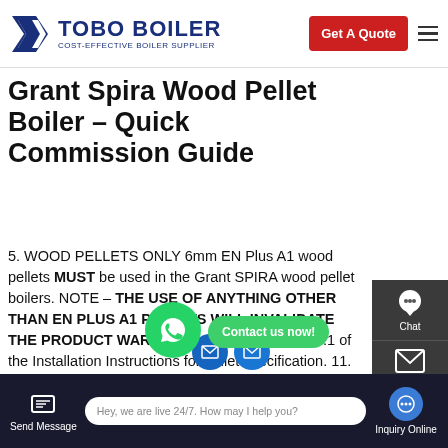TOBO BOILER — COST-EFFECTIVE BOILER SUPPLIER | Get A Quote
Grant Spira Wood Pellet Boiler – Quick Commission Guide
5. WOOD PELLETS ONLY 6mm EN Plus A1 wood pellets MUST be used in the Grant SPIRA wood pellet boilers. NOTE – THE USE OF ANYTHING OTHER THAN EN PLUS A1 PELLETS WILL INVALIDATE THE PRODUCT WARRANTY. Refer to Section 3.1 of the Installation Instructions for pellet specification. 11. HEATING SYSTEM CONTROLS Check operation of heating system
Send Message | Hey, we are live 24/7. How may I help you? | Inquiry Online